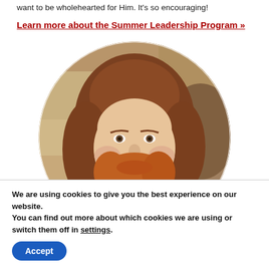want to be wholehearted for Him. It's so encouraging!
Learn more about the Summer Leadership Program »
[Figure (photo): Circular cropped photo of a man with long reddish-brown hair and beard, smiling, with rocky background]
We are using cookies to give you the best experience on our website.
You can find out more about which cookies we are using or switch them off in settings.